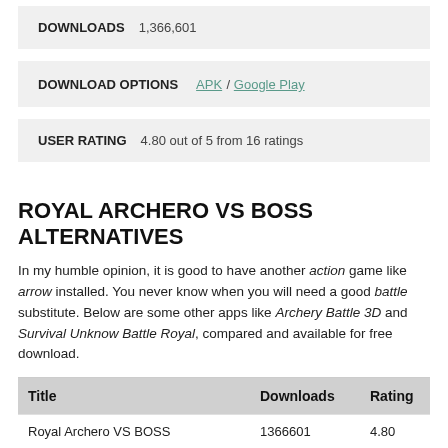DOWNLOADS   1,366,601
DOWNLOAD OPTIONS   APK / Google Play
USER RATING   4.80 out of 5 from 16 ratings
ROYAL ARCHERO VS BOSS ALTERNATIVES
In my humble opinion, it is good to have another action game like arrow installed. You never know when you will need a good battle substitute. Below are some other apps like Archery Battle 3D and Survival Unknow Battle Royal, compared and available for free download.
| Title | Downloads | Rating |
| --- | --- | --- |
| Royal Archero VS BOSS | 1366601 | 4.80 |